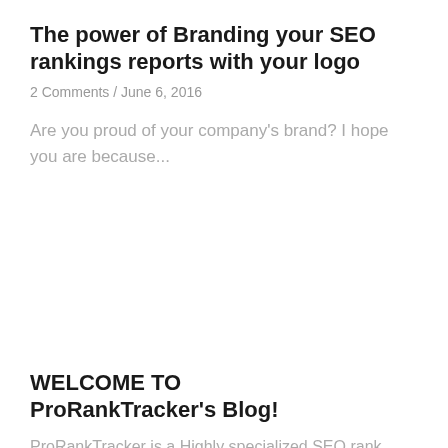The power of Branding your SEO rankings reports with your logo
2 Comments / June 6, 2016
Are you proud of your company's brand? I hope you are because...
WELCOME TO ProRankTracker's Blog!
ProRankTracker is a Highly specialized SEO rank tracking & reporting solution for SEO Agencies